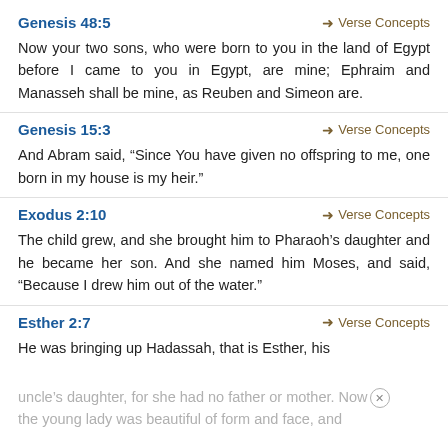Genesis 48:5
Verse Concepts
Now your two sons, who were born to you in the land of Egypt before I came to you in Egypt, are mine; Ephraim and Manasseh shall be mine, as Reuben and Simeon are.
Genesis 15:3
Verse Concepts
And Abram said, “Since You have given no offspring to me, one born in my house is my heir.”
Exodus 2:10
Verse Concepts
The child grew, and she brought him to Pharaoh’s daughter and he became her son. And she named him Moses, and said, “Because I drew him out of the water.”
Esther 2:7
Verse Concepts
He was bringing up Hadassah, that is Esther, his uncle’s daughter, for she had no father or mother. Now the young lady was beautiful of form and face, and